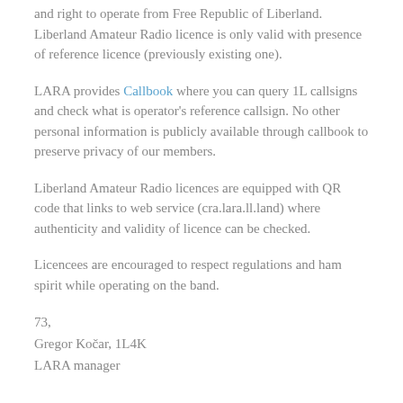and right to operate from Free Republic of Liberland. Liberland Amateur Radio licence is only valid with presence of reference licence (previously existing one).
LARA provides Callbook where you can query 1L callsigns and check what is operator's reference callsign. No other personal information is publicly available through callbook to preserve privacy of our members.
Liberland Amateur Radio licences are equipped with QR code that links to web service (cra.lara.ll.land) where authenticity and validity of licence can be checked.
Licencees are encouraged to respect regulations and ham spirit while operating on the band.
73,
Gregor Kočar, 1L4K
LARA manager